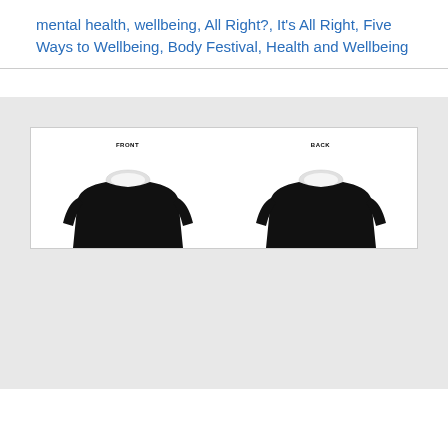mental health, wellbeing, All Right?, It's All Right, Five Ways to Wellbeing, Body Festival, Health and Wellbeing
[Figure (photo): Two views (FRONT and BACK) of a black t-shirt displayed against a white background, showing the collar and upper shoulder area]